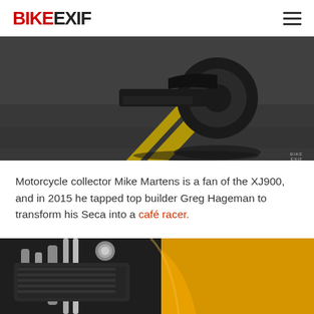BIKEEXIF
[Figure (photo): Low-angle shot of a motorcycle on a road with yellow center lines, shot from behind/below showing rear wheel and tire]
Motorcycle collector Mike Martens is a fan of the XJ900, and in 2015 he tapped top builder Greg Hageman to transform his Seca into a café racer.
“I’m back with that beauty again, as Greg has just reworked the bike,” says Mike. “The inspiration for the refresh was a carbon fiber fairing left over from a busted project.”
[Figure (photo): Close-up shot of a yellow motorcycle engine and tank, showing chrome engine components and bright yellow fuel tank]